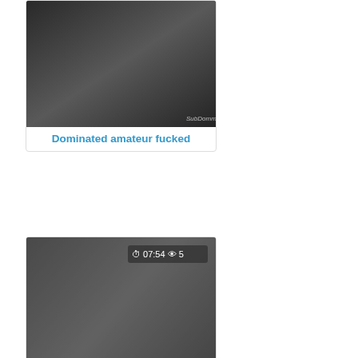[Figure (screenshot): Video thumbnail for 'Dominated amateur fucked']
Dominated amateur fucked
[Figure (screenshot): Video thumbnail with badge '07:54 5' for 'Kinky sub gets her pussy']
Kinky sub gets her pussy
Anal  Ass  Brittisk  Bukkake  Böj  Grupp
[Figure (screenshot): Video thumbnail with badge '06:09 2']